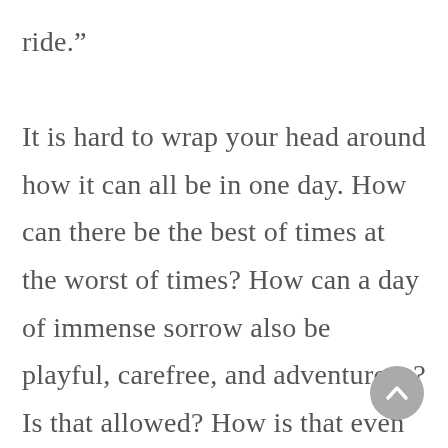ride.”

It is hard to wrap your head around how it can all be in one day. How can there be the best of times at the worst of times? How can a day of immense sorrow also be playful, carefree, and adventurous? Is that allowed? How is that even possible? All I know is that my mare was clearly having a party. Her enthusiasm was contagious. If you took her lead, today, every day, was a celebration. Every moment was a party. Not a